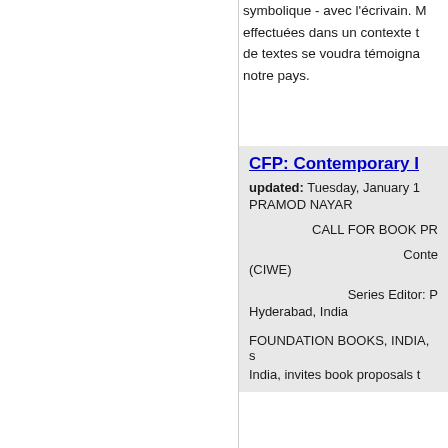symbolique - avec l'écrivain. effectuées dans un contexte de textes se voudra témoigna notre pays.
CFP: Contemporary I
updated: Tuesday, January 1
PRAMOD NAYAR
CALL FOR BOOK PR
Conte (CIWE)
Series Editor: Hyderabad, India
FOUNDATION BOOKS, INDIA, India, invites book proposals t